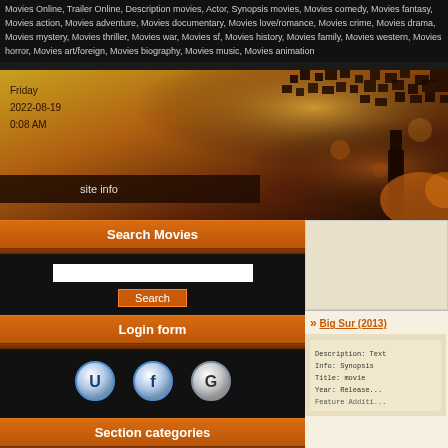Movies Online, Trailer Online, Description movies, Actor, Synopsis movies, Movies comedy, Movies fantasy, Movies action, Movies adventure, Movies documentary, Movies love/romance, Movies crime, Movies drama, Movies mystery, Movies thriller, Movies war, Movies sf, Movies history, Movies family, Movies western, Movies horror, Movies art/foreign, Movies biography, Movies music, Movies animation
[Figure (photo): Hero banner image with warm orange/brown bokeh background, silhouette of a tree on the right, date overlay on left showing Friday 2022-08-19 0:08 AM, and a 'site info' dark overlay bar]
Friday
2022-08-19
0:08 AM
site info
Search Movies
Login form
[Figure (logo): Three circular social login buttons: U (white/blue circle), f (Facebook, blue circle), G (Google, white/grey circle)]
Section categories
TOP NEWS [370]
Movie news, Tv news, Celebrity news, Featured news.
MOVIES 2014 [53]
Big Sur (2013)
[Figure (photo): Thumbnail image of Big Sur (2013) movie, showing a beige/cream-colored card with text lines visible]